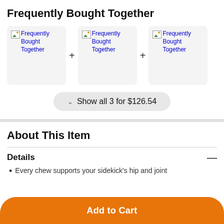Frequently Bought Together
[Figure (screenshot): Three product image placeholders labeled 'Frequently Bought Together' arranged in a row with plus signs between them]
Show all 3 for $126.54
About This Item
Details
Every chew supports your sidekick's hip and joint
Add to Cart